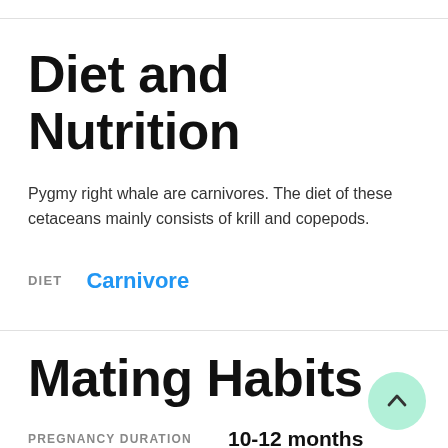Diet and Nutrition
Pygmy right whale are carnivores. The diet of these cetaceans mainly consists of krill and copepods.
DIET   Carnivore
Mating Habits
PREGNANCY DURATION   10-12 months
BABY CARRYING   1 calf